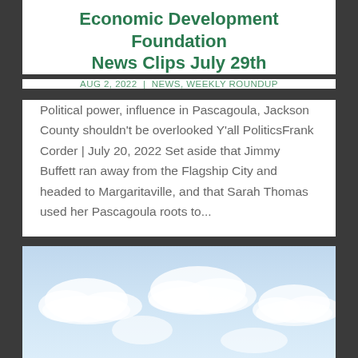Economic Development Foundation News Clips July 29th
AUG 2, 2022 | NEWS, WEEKLY ROUNDUP
Political power, influence in Pascagoula, Jackson County shouldn't be overlooked Y'all PoliticsFrank Corder | July 20, 2022 Set aside that Jimmy Buffett ran away from the Flagship City and headed to Margaritaville, and that Sarah Thomas used her Pascagoula roots to...
[Figure (photo): Sky with white clouds against a light blue background]